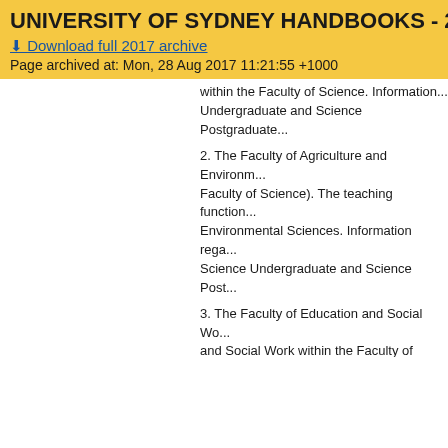UNIVERSITY OF SYDNEY HANDBOOKS - 2017
Download full 2017 archive
Page archived at: Mon, 28 Aug 2017 11:21:55 +1000
within the Faculty of Science. Information ... Undergraduate and Science Postgraduate...
2. The Faculty of Agriculture and Environment ... (Faculty of Science). The teaching function ... Environmental Sciences. Information rega... Science Undergraduate and Science Post...
3. The Faculty of Education and Social Wo... and Social Work within the Faculty of Arts... Social Work courses will be in the Arts and... Sciences Postgraduate handbooks.
4. The following faculties will become Univ...
The Faculty of Architecture, Design a... Architecture, Design and Planning.
The Sydney Conservatorium of Mus...
The Sydney Law School becomes th...
5. The current faculties of Medicine, Denti... amalgamated as a single faculty under a n... external review. It is proposed that the Fa... The current structure remains until a date...